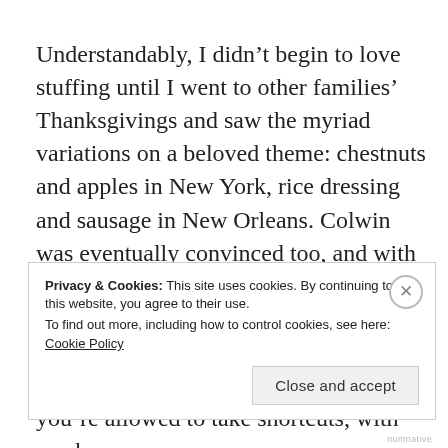Understandably, I didn't begin to love stuffing until I went to other families' Thanksgivings and saw the myriad variations on a beloved theme: chestnuts and apples in New York, rice dressing and sausage in New Orleans. Colwin was eventually convinced too, and with this recipe I can see why. It's not fussy; you can imagine her making it on her two-burner stovetop. But it feels just right—and in classic Laurie style, you're allowed to take shortcuts, with no shame.
Privacy & Cookies: This site uses cookies. By continuing to use this website, you agree to their use.
To find out more, including how to control cookies, see here: Cookie Policy